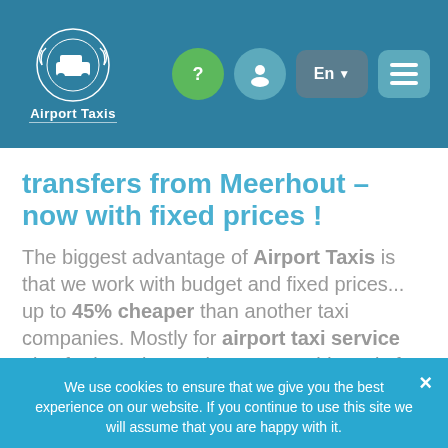[Figure (logo): Airport Taxis logo with laurel wreath and taxi icon on teal background header, with navigation icons: question mark, user profile, language selector (En), and hamburger menu]
transfers from Meerhout – now with fixed prices !
The biggest advantage of Airport Taxis is that we work with budget and fixed prices... up to 45% cheaper than another taxi companies. Mostly for airport taxi service also for intercity service. We provide taxis for
We use cookies to ensure that we give you the best experience on our website. If you continue to use this site we will assume that you are happy with it.